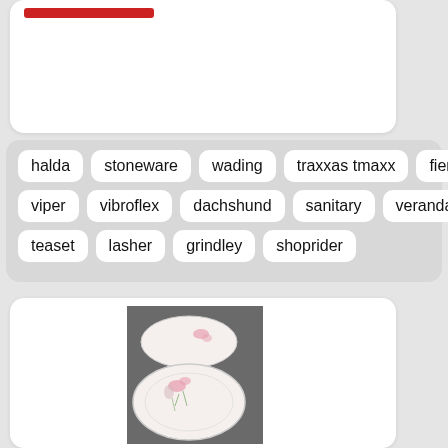[Figure (other): White card with a red bar/logo at top left, mostly empty white space]
halda
stoneware
wading
traxxas tmaxx
fiero
viper
vibroflex
dachshund
sanitary
veranda
teaset
lasher
grindley
shoprider
[Figure (photo): White ceramic plates with pink floral design, stacked, on a grey surface]